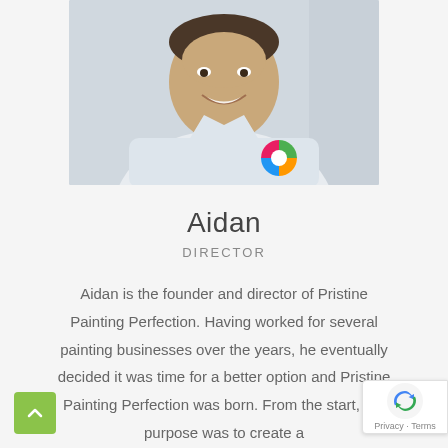[Figure (photo): Headshot photo of a smiling man in a white polo shirt with a colorful circular logo on the chest, light background]
Aidan
DIRECTOR
Aidan is the founder and director of Pristine Painting Perfection. Having worked for several painting businesses over the years, he eventually decided it was time for a better option and Pristine Painting Perfection was born. From the start, the purpose was to create a